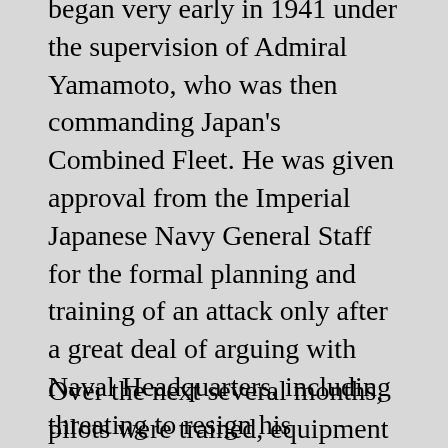began very early in 1941 under the supervision of Admiral Yamamoto, who was then commanding Japan's Combined Fleet. He was given approval from the Imperial Japanese Navy General Staff for the formal planning and training of an attack only after a great deal of arguing with Naval Headquarters, including threating to resign his command. Full-scale planning was underway by early spring 1941. The planners intensively studied the 1940 British air attack on the Italian fleet at Taranto.
Over the next several months, pilots were trained, equipment was adapted, and intelligence was collected. Despite